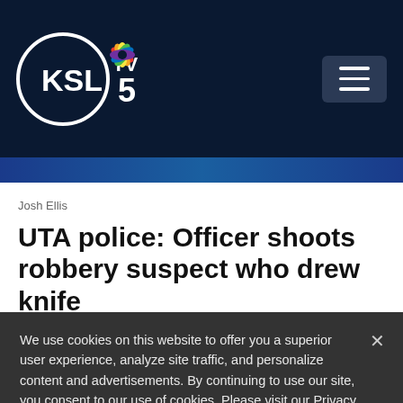[Figure (logo): KSL TV 5 NBC logo with circular emblem and NBC peacock icon on dark navy background]
Josh Ellis
UTA police: Officer shoots robbery suspect who drew knife
1 day ago
We use cookies on this website to offer you a superior user experience, analyze site traffic, and personalize content and advertisements. By continuing to use our site, you consent to our use of cookies. Please visit our Privacy Policy for more information.
Accept Cookies